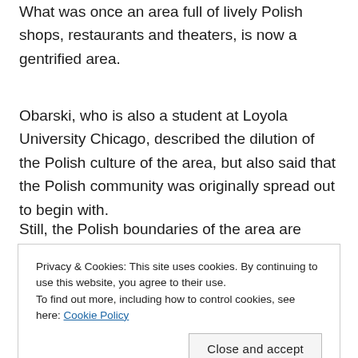What was once an area full of lively Polish shops, restaurants and theaters, is now a gentrified area.
Obarski, who is also a student at Loyola University Chicago, described the dilution of the Polish culture of the area, but also said that the Polish community was originally spread out to begin with.
Still, the Polish boundaries of the area are
Privacy & Cookies: This site uses cookies. By continuing to use this website, you agree to their use.
To find out more, including how to control cookies, see here: Cookie Policy
Adam Aksnowicz, 22, a docent and collections